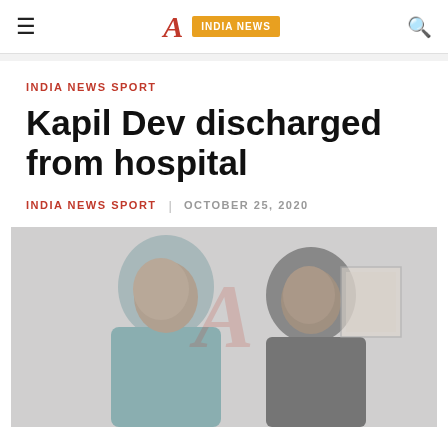≡  A  INDIA NEWS  🔍
INDIA NEWS SPORT
Kapil Dev discharged from hospital
INDIA NEWS SPORT   OCTOBER 25, 2020
[Figure (photo): Two men photographed together, one appears to be in a light blue outfit, set against a muted background with a watermark logo overlay.]